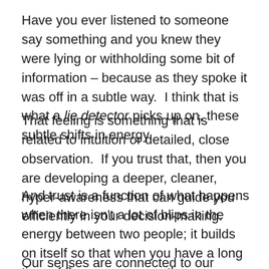Have you ever listened to someone say something and you knew they were lying or withholding some bit of information – because as they spoke it was off in a subtle way.  I think that is what a lie detector picks up on, these subtle shifts in energy.
That feeling is something that is related to intuition or detailed, close observation.  If you trust that, then you are developing a deeper, cleaner, hyper-awareness that can guide you efficiently in your decision-making.
And trust is a function of what happens when there isn't a lot of blips in the energy between two people; it builds on itself so that when you have a long time of flow one can weather something being off.
Our senses are connected to our brains to offer a set of